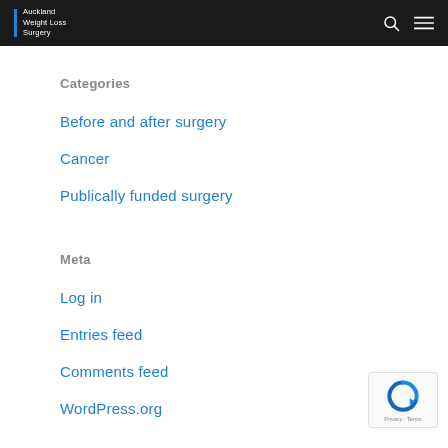Auckland Weight Loss Surgery
Categories
Before and after surgery
Cancer
Publically funded surgery
Meta
Log in
Entries feed
Comments feed
WordPress.org
[Figure (logo): reCAPTCHA badge with Privacy and Terms links]